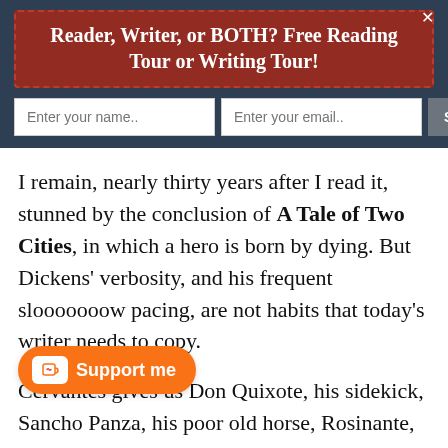[Figure (other): Newsletter signup banner with dark blue background, dashed red box containing bold white text headline, two input fields, and a subscribe button]
I remain, nearly thirty years after I read it, stunned by the conclusion of A Tale of Two Cities, in which a hero is born by dying. But Dickens' verbosity, and his frequent slooooooow pacing, are not habits that today's writer needs to copy.
Cervantes gives us Don Quixote, his sidekick, Sancho Panza, his poor old horse, Rosinante, and lcinea — and creates in Don Quixote a man who manages to be the butt of
[Figure (other): Orange 'Support me' button with a coffee cup icon on the left side]